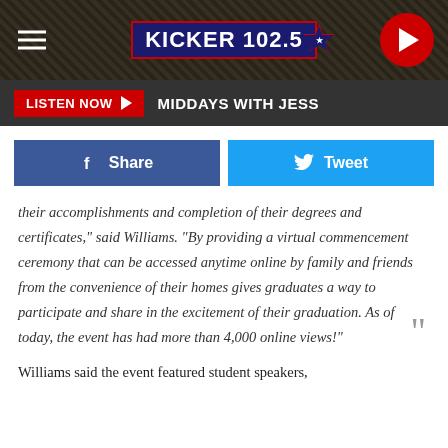[Figure (screenshot): Kicker 102.5 radio station website header with logo, hamburger menu, and play button]
LISTEN NOW ▶  MIDDAYS WITH JESS
[Figure (other): Facebook Share button and Twitter Tweet button]
their accomplishments and completion of their degrees and certificates," said Williams. "By providing a virtual commencement ceremony that can be accessed anytime online by family and friends from the convenience of their homes gives graduates a way to participate and share in the excitement of their graduation. As of today, the event has had more than 4,000 online views!"
Williams said the event featured student speakers,